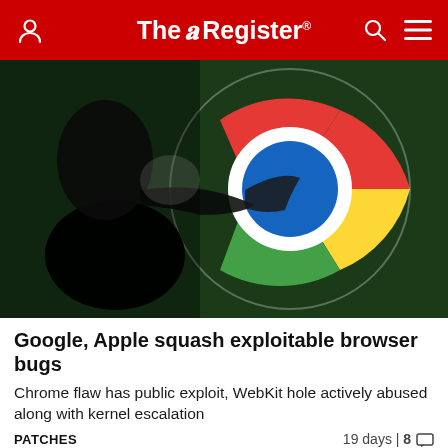The Register
[Figure (photo): Chrome browser logo with a dark silhouette of a hand/figure overlaid, suggesting hacking or exploitation. The Chrome logo shows the distinctive red, yellow, green and blue circular design on a dark background.]
Google, Apple squash exploitable browser bugs
Chrome flaw has public exploit, WebKit hole actively abused along with kernel escalation
PATCHES   19 days | 8
[Figure (photo): Partial image of hands, cropped at bottom of page.]